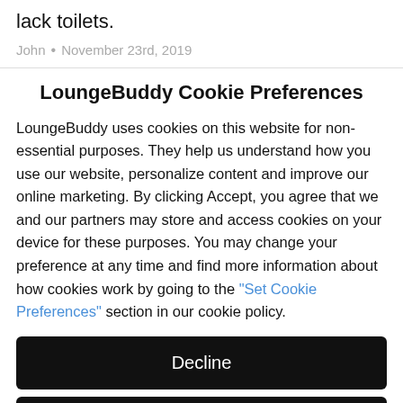lack toilets.
John • November 23rd, 2019
LoungeBuddy Cookie Preferences
LoungeBuddy uses cookies on this website for non-essential purposes. They help us understand how you use our website, personalize content and improve our online marketing. By clicking Accept, you agree that we and our partners may store and access cookies on your device for these purposes. You may change your preference at any time and find more information about how cookies work by going to the "Set Cookie Preferences" section in our cookie policy.
Decline
Accept
Options